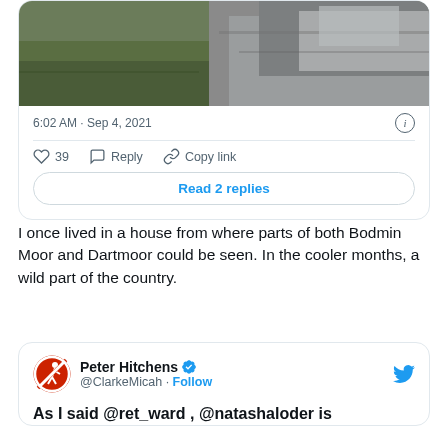[Figure (photo): Landscape photo showing moorland and rocky terrain, partially visible at top of card]
6:02 AM · Sep 4, 2021
39  Reply  Copy link
Read 2 replies
I once lived in a house from where parts of both Bodmin Moor and Dartmoor could be seen. In the cooler months, a wild part of the country.
Peter Hitchens @ClarkeMicah · Follow
As I said @ret_ward , @natashaloder is